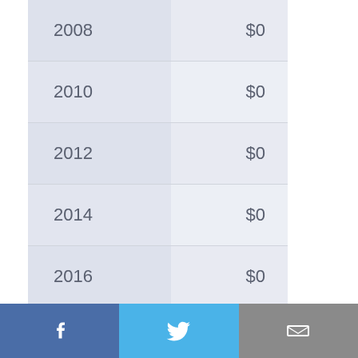| Year | Amount |
| --- | --- |
| 2008 | $0 |
| 2010 | $0 |
| 2012 | $0 |
| 2014 | $0 |
| 2016 | $0 |
| 2018 | $0 |
| 2020 | $0 |